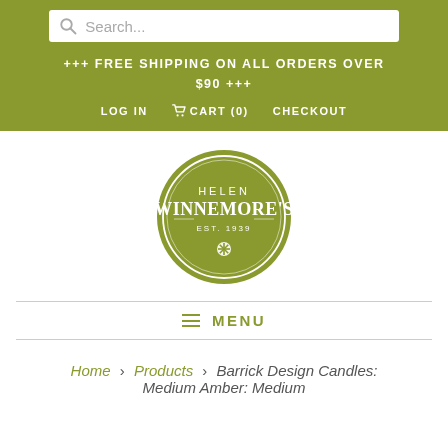Search...
+++ FREE SHIPPING ON ALL ORDERS OVER $90 +++
LOG IN   CART (0)   CHECKOUT
[Figure (logo): Helen Winnemore's est. 1939 circular logo in olive green with white text and a small snowflake/flower emblem]
MENU
Home > Products > Barrick Design Candles: Medium Amber: Medium